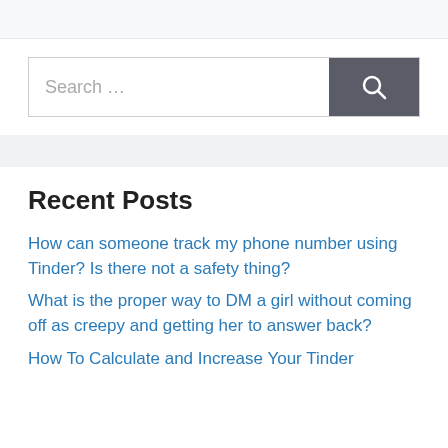Search …
Recent Posts
How can someone track my phone number using Tinder? Is there not a safety thing?
What is the proper way to DM a girl without coming off as creepy and getting her to answer back?
How To Calculate and Increase Your Tinder